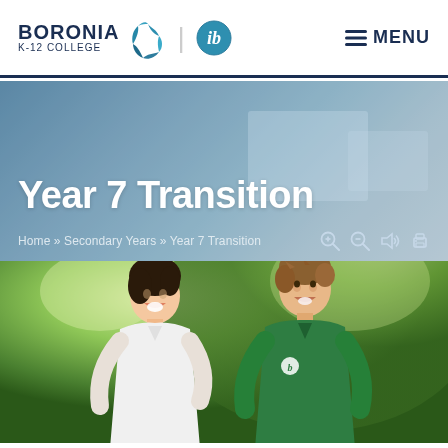BORONIA K-12 COLLEGE | IB | MENU
Year 7 Transition
Home » Secondary Years » Year 7 Transition
[Figure (photo): Two male students smiling outdoors in front of green trees. Left student wears a white shirt, right student wears a green Boronia K-12 College polo shirt with the school logo.]